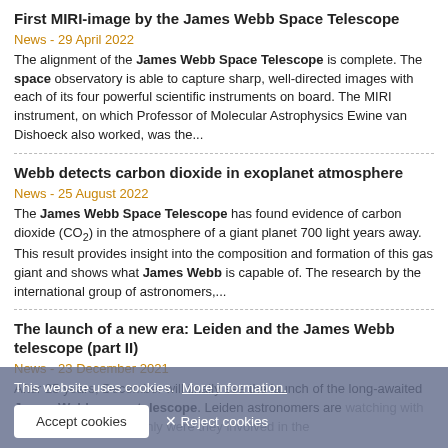First MIRI-image by the James Webb Space Telescope
News - 29 April 2022
The alignment of the James Webb Space Telescope is complete. The space observatory is able to capture sharp, well-directed images with each of its four powerful scientific instruments on board. The MIRI instrument, on which Professor of Molecular Astrophysics Ewine van Dishoeck also worked, was the...
Webb detects carbon dioxide in exoplanet atmosphere
News - 25 August 2022
The James Webb Space Telescope has found evidence of carbon dioxide (CO₂) in the atmosphere of a giant planet 700 light years away. This result provides insight into the composition and formation of this gas giant and shows what James Webb is capable of. The research by the international group of astronomers,...
The launch of a new era: Leiden and the James Webb telescope (part II)
News - 23 December 2021
After 25 years, December will finally see the launch of the long-awaited James Webb space telescope. Leiden astronomers are watching with great excitement, not only were they involved in the... the telescope will ...secrets of the universe. Ewine van Dishoeck receives honorary doctorate from the...
This website uses cookies. More information.
Accept cookies  ✕ Reject cookies